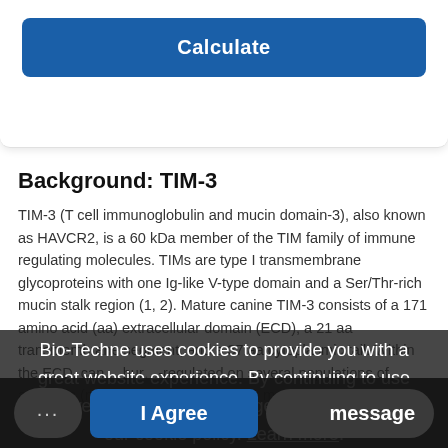[Figure (screenshot): Blue Calculate button inside a white card]
Background: TIM-3
TIM-3 (T cell immunoglobulin and mucin domain-3), also known as HAVCR2, is a 60 kDa member of the TIM family of immune regulating molecules. TIMs are type I transmembrane glycoproteins with one Ig-like V-type domain and a Ser/Thr-rich mucin stalk region (1, 2). Mature canine TIM-3 consists of a 171 amino acid (aa) extracellular domain (ECD), a 21 aa transmembrane segment, and a 37 aa cytoplasmic tail. Within the ECD, canine TIM-3 shares 63% aa sequence identity with human TIM-3. Expression of TIM-3 is up-regulated on several populations of activated immune cells (macrophage, monocyte, ... message cells (Th1, C...
Bio-Techne uses cookies to provide you with a great website experience. By continuing to use this website you acknowledge this and agree to our cookie policy. Learn more.
[Figure (screenshot): I Agree button and message button at bottom]